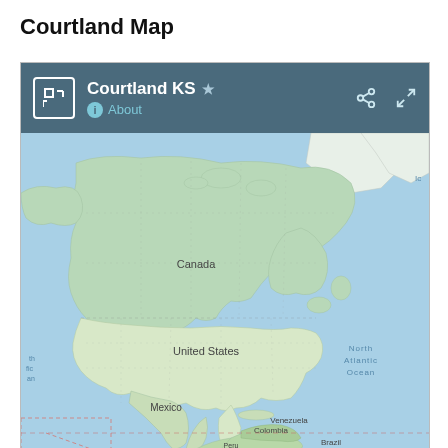Courtland Map
[Figure (map): Google Maps screenshot showing a zoomed-out view of North America including Canada, United States, Mexico, and northern South America (Venezuela, Colombia, Brazil, Peru). Map header bar shows 'Courtland KS' with About link, share icon, and fullscreen icon.]